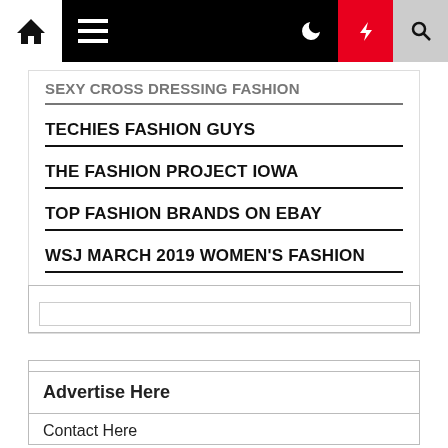Navigation bar with home, menu, moon, lightning, and search icons
SEXY CROSS DRESSING FASHION
TECHIES FASHION GUYS
THE FASHION PROJECT IOWA
TOP FASHION BRANDS ON EBAY
WSJ MARCH 2019 WOMEN'S FASHION
WWW.VENUS SWIM AND FASHION
Advertise Here
Contact Here